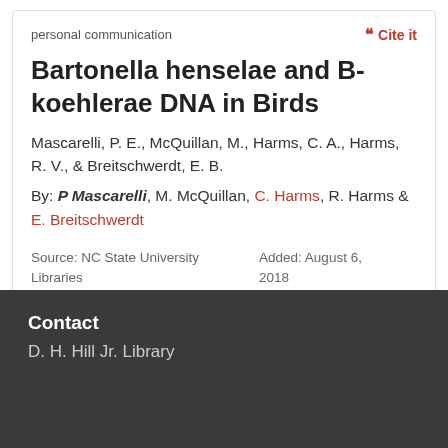personal communication
““ Cite it
Bartonella henselae and B-koehlerae DNA in Birds
Mascarelli, P. E., McQuillan, M., Harms, C. A., Harms, R. V., & Breitschwerdt, E. B.
By: P Mascarelli, M. McQuillan, C. Harms, R. Harms & E. Breitschwerdt
Source: NC State University Libraries
Added: August 6, 2018
Contact
D. H. Hill Jr. Library